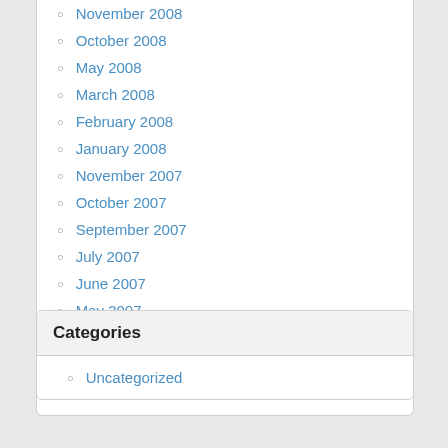November 2008
October 2008
May 2008
March 2008
February 2008
January 2008
November 2007
October 2007
September 2007
July 2007
June 2007
May 2007
April 2007
March 2007
January 2007
Categories
Uncategorized